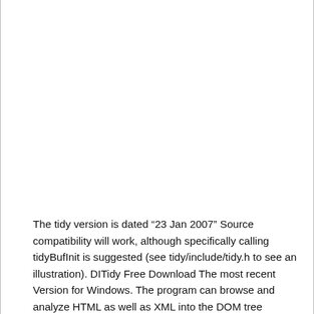The tidy version is dated “23 Jan 2007” Source compatibility will work, although specifically calling tidyBufInit is suggested (see tidy/include/tidy.h to see an illustration). DITidy Free Download The most recent Version for Windows. The program can browse and analyze HTML as well as XML into the DOM tree structure, and output to detect blunders, and